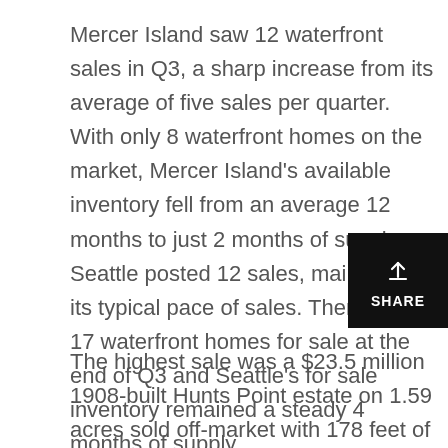Mercer Island saw 12 waterfront sales in Q3, a sharp increase from its average of five sales per quarter. With only 8 waterfront homes on the market, Mercer Island's available inventory fell from an average 12 months to just 2 months of supply. Seattle posted 12 sales, maintaining its typical pace of sales. There were 17 waterfront homes for sale at the end of Q3 and Seattle's for sale inventory remained a steady 4 months of supply.
[Figure (other): Share button with honeycomb background pattern and upload/share icon]
The highest sale was a $23.5 million 1908-built Hunts Point estate on 1.59 acres sold off-market with 178 feet of waterfront...